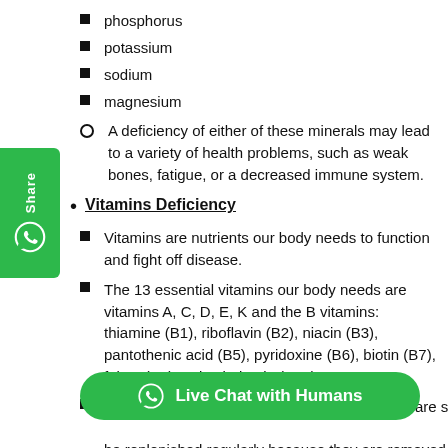phosphorus
potassium
sodium
magnesium
A deficiency of either of these minerals may lead to a variety of health problems, such as weak bones, fatigue, or a decreased immune system.
Vitamins Deficiency
Vitamins are nutrients our body needs to function and fight off disease.
The 13 essential vitamins our body needs are vitamins A, C, D, E, K and the B vitamins: thiamine (B1), riboflavin (B2), niacin (B3), pantothenic acid (B5), pyridoxine (B6), biotin (B7), folate (B9) and cobalamin (B12).
The four fat-soluble vitamins i.e A, D, E, and K are stored in the body for longer. The other nine vitamins are water-soluble and must be replenished regularly because they are removed from the body in your urine.